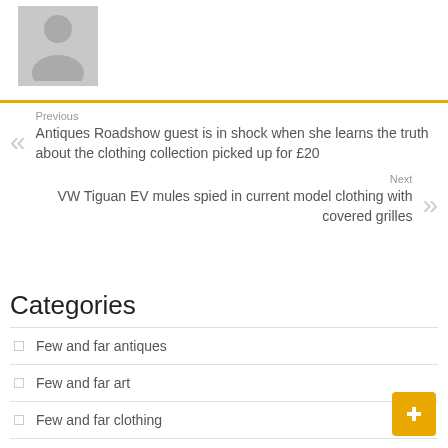[Figure (illustration): Generic user avatar placeholder icon — grey silhouette of a person on grey background]
Previous
Antiques Roadshow guest is in shock when she learns the truth about the clothing collection picked up for £20
Next
VW Tiguan EV mules spied in current model clothing with covered grilles
Categories
Few and far antiques
Few and far art
Few and far clothing
Few and far furniture